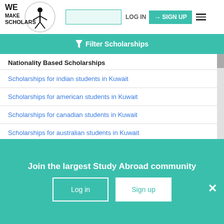[Figure (logo): We Make Scholars logo with acrobat figure in circle]
LOG IN | SIGN UP
Filter Scholarships
Nationality Based Scholarships
Scholarships for indian students in Kuwait
Scholarships for american students in Kuwait
Scholarships for canadian students in Kuwait
Scholarships for australian students in Kuwait
Scholarships for british students in Kuwait
Join the largest Study Abroad community
Log in | Sign up